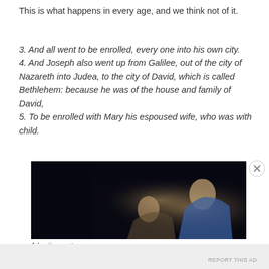This is what happens in every age, and we think not of it.
3. And all went to be enrolled, every one into his own city. 4. And Joseph also went up from Galilee, out of the city of Nazareth into Judea, to the city of David, which is called Bethlehem: because he was of the house and family of David, 5. To be enrolled with Mary his espoused wife, who was with child.
[Figure (photo): Dark classical painting showing figures, likely a religious nativity or biblical scene with two figures visible in candlelight, one wearing blue]
Advertisements